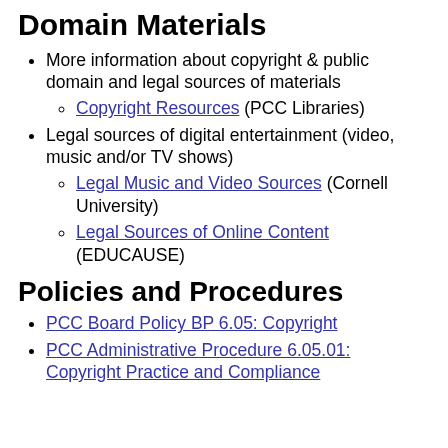Domain Materials
More information about copyright & public domain and legal sources of materials
Copyright Resources (PCC Libraries)
Legal sources of digital entertainment (video, music and/or TV shows)
Legal Music and Video Sources (Cornell University)
Legal Sources of Online Content (EDUCAUSE)
Policies and Procedures
PCC Board Policy BP 6.05: Copyright
PCC Administrative Procedure 6.05.01: Copyright Practice and Compliance